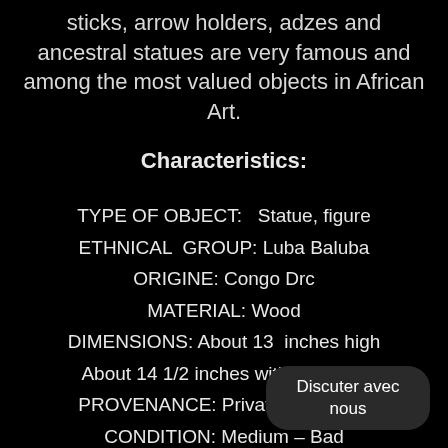sticks, arrow holders, adzes and ancestral statues are very famous and among the most valued objects in African Art.
Characteristics:
TYPE OF OBJECT:   Statue, figure
ETHNICAL GROUP: Luba Baluba
ORIGINE: Congo Drc
MATERIAL: Wood
DIMENSIONS: About 13  inches high
About 14 1/2 inches with the base
PROVENANCE: Private Collection
CONDITION: Medium – Bad
Please have a look on th
Discuter avec nous